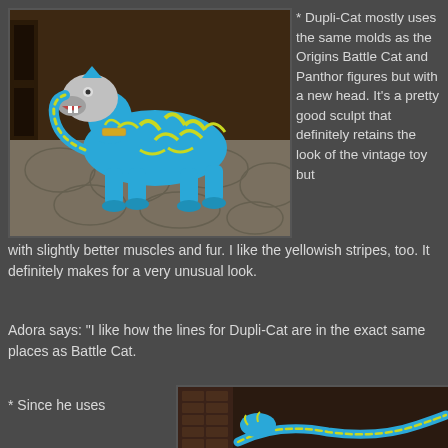[Figure (photo): Blue tiger toy figure (Dupli-Cat) with yellow stripes and silver head, posed on stone floor background]
* Dupli-Cat mostly uses the same molds as the Origins Battle Cat and Panthor figures but with a new head. It's a pretty good sculpt that definitely retains the look of the vintage toy but with slightly better muscles and fur. I like the yellowish stripes, too. It definitely makes for a very unusual look.
Adora says: "I like how the lines for Dupli-Cat are in the exact same places as Battle Cat.
* Since he uses
[Figure (photo): Close-up photo of blue Dupli-Cat toy figure tail and body on dark background]